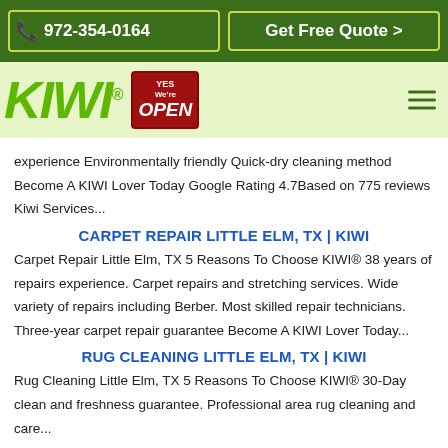972-354-0164  Get Free Quote >
[Figure (logo): KIWI logo with registered trademark symbol, YES We're OPEN badge, and hamburger menu icon on light green background]
experience Environmentally friendly Quick-dry cleaning method Become A KIWI Lover Today Google Rating 4.7Based on 775 reviews Kiwi Services...
CARPET REPAIR LITTLE ELM, TX | KIWI
Carpet Repair Little Elm, TX 5 Reasons To Choose KIWI® 38 years of repairs experience. Carpet repairs and stretching services. Wide variety of repairs including Berber. Most skilled repair technicians. Three-year carpet repair guarantee Become A KIWI Lover Today...
RUG CLEANING LITTLE ELM, TX | KIWI
Rug Cleaning Little Elm, TX 5 Reasons To Choose KIWI® 30-Day clean and freshness guarantee. Professional area rug cleaning and care...